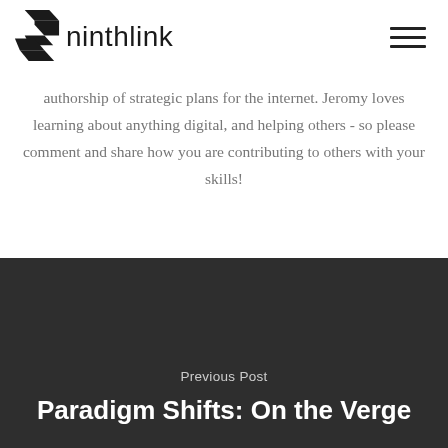[Figure (logo): Ninthlink logo with stylized S icon and wordmark 'ninthlink' in bold sans-serif, plus hamburger menu icon on the right]
authorship of strategic plans for the internet. Jeromy loves learning about anything digital, and helping others - so please comment and share how you are contributing to others with your skills!
Previous Post
Paradigm Shifts: On the Verge